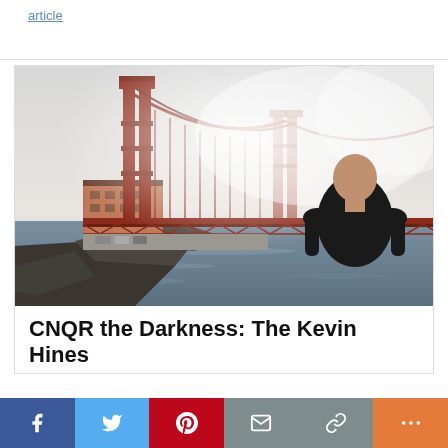article
[Figure (photo): A man in a black t-shirt stands with his back to the camera looking at the Golden Gate Bridge in San Francisco, partially obscured by fog. A brick building is visible near the bridge base, with rocky shoreline in the foreground.]
CNQR the Darkness: The Kevin Hines
[Figure (infographic): Social media share bar with Facebook (blue), Twitter (light blue), Pinterest (red), Email (grey), Link (grey), and More (orange) buttons]